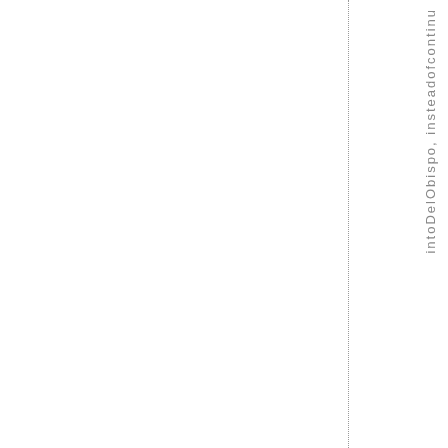intoDelObispo, insteadofcontinu